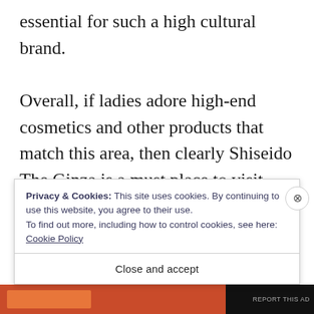essential for such a high cultural brand.

Overall, if ladies adore high-end cosmetics and other products that match this area, then clearly Shiseido The Ginza is a must place to visit. Like previously mentioned, the level of high technology and the amazing décor is a real treat. Of course, for individuals who know Shiseido, then this isn't surprising because of the richness
Privacy & Cookies: This site uses cookies. By continuing to use this website, you agree to their use.
To find out more, including how to control cookies, see here: Cookie Policy
Close and accept